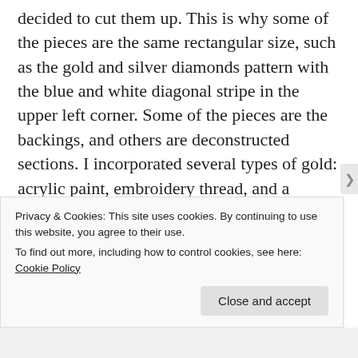decided to cut them up. This is why some of the pieces are the same rectangular size, such as the gold and silver diamonds pattern with the blue and white diagonal stripe in the upper left corner. Some of the pieces are the backings, and others are deconstructed sections. I incorporated several types of gold: acrylic paint, embroidery thread, and a metallic candy wrapper. I also used multiple textures of lace and fabric, some of which I overpainted. All of these come from recycled fabrics. In life,
Privacy & Cookies: This site uses cookies. By continuing to use this website, you agree to their use.
To find out more, including how to control cookies, see here: Cookie Policy